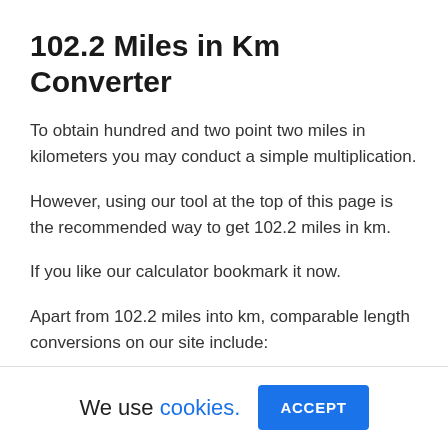102.2 Miles in Km Converter
To obtain hundred and two point two miles in kilometers you may conduct a simple multiplication.
However, using our tool at the top of this page is the recommended way to get 102.2 miles in km.
If you like our calculator bookmark it now.
Apart from 102.2 miles into km, comparable length conversions on our site include:
We use cookies. ACCEPT